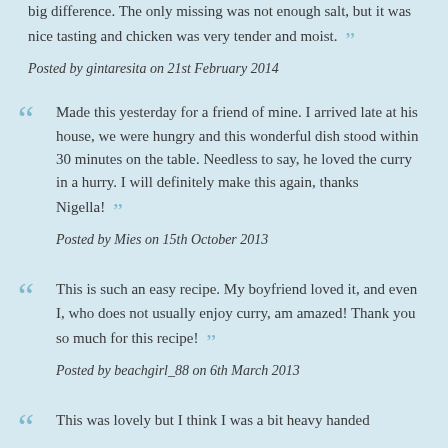big difference. The only missing was not enough salt, but it was nice tasting and chicken was very tender and moist.
Posted by gintaresita on 21st February 2014
Made this yesterday for a friend of mine. I arrived late at his house, we were hungry and this wonderful dish stood within 30 minutes on the table. Needless to say, he loved the curry in a hurry. I will definitely make this again, thanks Nigella!
Posted by Mies on 15th October 2013
This is such an easy recipe. My boyfriend loved it, and even I, who does not usually enjoy curry, am amazed! Thank you so much for this recipe!
Posted by beachgirl_88 on 6th March 2013
This was lovely but I think I was a bit heavy handed